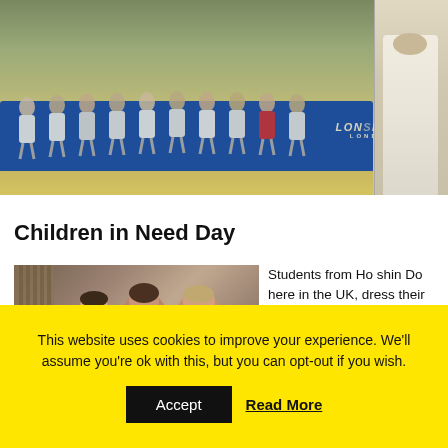[Figure (photo): Group of children in white martial arts uniforms (gi) sitting on a blue mat in a gym. A Lonsdale London logo is visible on the mat. A second partial photo on the right shows a person in a white gi.]
Children in Need Day
[Figure (photo): Young children smiling at the camera in a gym setting, wearing martial arts uniforms.]
Students from Ho shin Do here in the UK, dress their teddies up as
This website uses cookies to improve your experience. We'll assume you're ok with this, but you can opt-out if you wish.